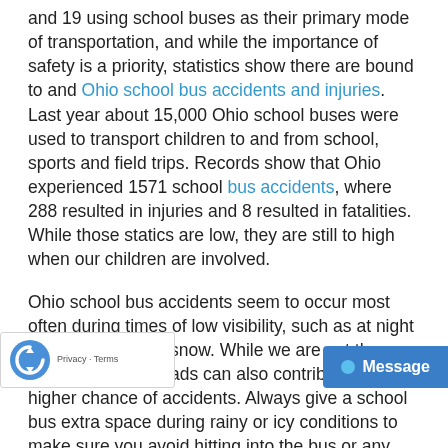and 19 using school buses as their primary mode of transportation, and while the importance of safety is a priority, statistics show there are bound to and Ohio school bus accidents and injuries. Last year about 15,000 Ohio school buses were used to transport children to and from school, sports and field trips. Records show that Ohio experienced 1571 school bus accidents, where 288 resulted in injuries and 8 resulted in fatalities. While those statics are low, they are still to high when our children are involved.
Ohio school bus accidents seem to occur most often during times of low visibility, such as at night and during rain or snow. While we are not there yet, ice and wet roads can also contribute to a higher chance of accidents. Always give a school bus extra space during rainy or icy conditions to make sure you avoid hitting into the bus or any nearby children. Take watch out for children more during inclement weather, as children may be hard to spot if